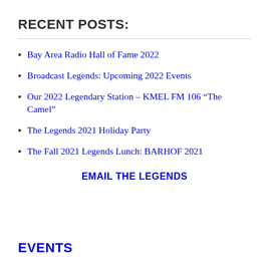RECENT POSTS:
Bay Area Radio Hall of Fame 2022
Broadcast Legends: Upcoming 2022 Events
Our 2022 Legendary Station – KMEL FM 106 “The Camel”
The Legends 2021 Holiday Party
The Fall 2021 Legends Lunch: BARHOF 2021
EMAIL THE LEGENDS
EVENTS